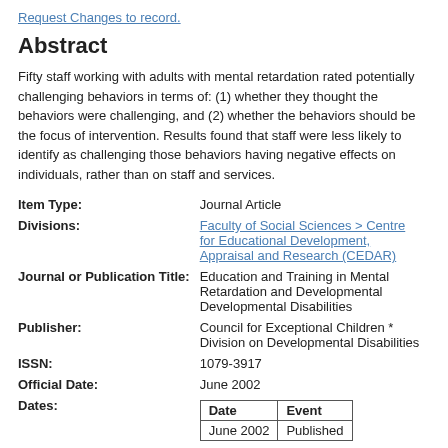Request Changes to record.
Abstract
Fifty staff working with adults with mental retardation rated potentially challenging behaviors in terms of: (1) whether they thought the behaviors were challenging, and (2) whether the behaviors should be the focus of intervention. Results found that staff were less likely to identify as challenging those behaviors having negative effects on individuals, rather than on staff and services.
| Item Type: | Journal Article |
| Divisions: | Faculty of Social Sciences > Centre for Educational Development, Appraisal and Research (CEDAR) |
| Journal or Publication Title: | Education and Training in Mental Retardation and Developmental Developmental Disabilities |
| Publisher: | Council for Exceptional Children * Division on Developmental Disabilities |
| ISSN: | 1079-3917 |
| Official Date: | June 2002 |
| Dates: | Date | Event
June 2002 | Published |
| Volume: | Volume 37 |
| Date | Event |
| --- | --- |
| June 2002 | Published |